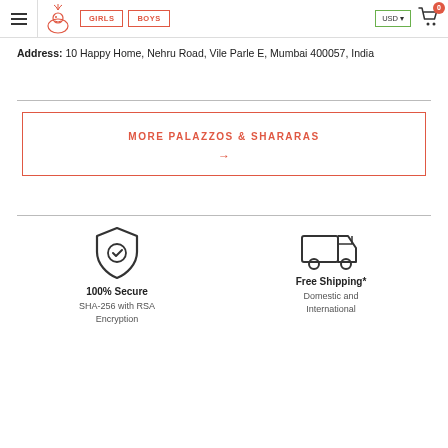Navigation bar with hamburger menu, logo, GIRLS, BOYS buttons, USD selector, and cart icon with badge 0
Address: 10 Happy Home, Nehru Road, Vile Parle E, Mumbai 400057, India
MORE PALAZZOS & SHARARAS →
100% Secure
SHA-256 with RSA Encryption
Free Shipping*
Domestic and International